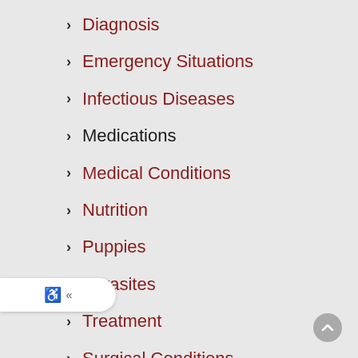Diagnosis
Emergency Situations
Infectious Diseases
Medications
Medical Conditions
Nutrition
Puppies
Parasites
Treatment
Surgical Conditions